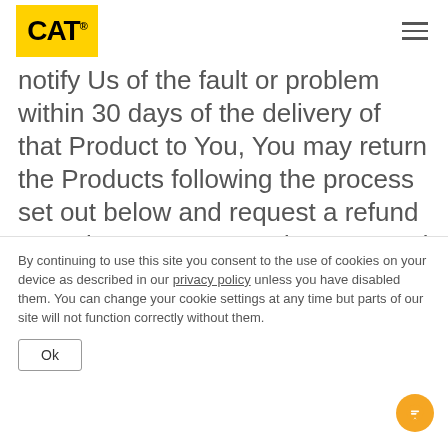CAT® [logo and hamburger menu]
notify Us of the fault or problem within 30 days of the delivery of that Product to You, You may return the Products following the process set out below and request a refund or replacement.  A Product returned as faulty or incorrect within the 30-day time period specified above will be subject to Our inspection and testing to determine, at Our sole and absolute discretion (acting in good faith and reasonably) if that Product is in fact faulty
By continuing to use this site you consent to the use of cookies on your device as described in our privacy policy unless you have disabled them. You can change your cookie settings at any time but parts of our site will not function correctly without them.
Ok